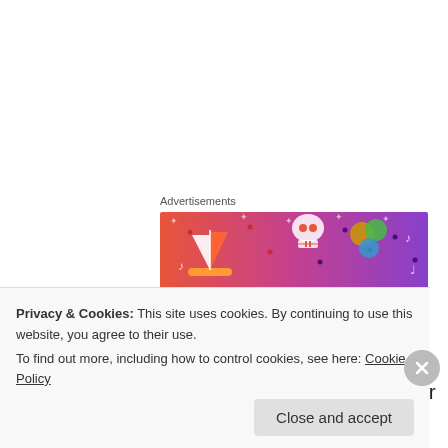Advertisements
[Figure (illustration): Colorful advertisement banner with gradient background (orange to purple) featuring illustrated icons: a sailboat, skull, dice, musical notes, stars, and the word FANDOM at the bottom.]
kocart on May 21, 2012 at 9:49 pm
My ten year old son has become our salad maker and he never neglects adding the
Privacy & Cookies: This site uses cookies. By continuing to use this website, you agree to their use.
To find out more, including how to control cookies, see here: Cookie Policy